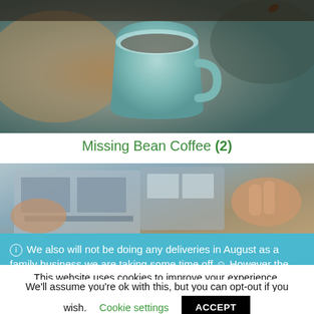[Figure (photo): Close-up photo of a light teal/blue ceramic coffee cup, blurred background with warm brown tones]
Missing Bean Coffee (2)
[Figure (photo): Photo showing hands operating an espresso machine or coffee equipment, industrial kitchen setting]
ⓘ We also will not be doing any deliveries in August as a family business we are taking some time off 😊 However the stall will be open as normal, thank you!
This website uses cookies to improve your experience. We'll assume you're ok with this, but you can opt-out if you wish.
Cookie settings
ACCEPT